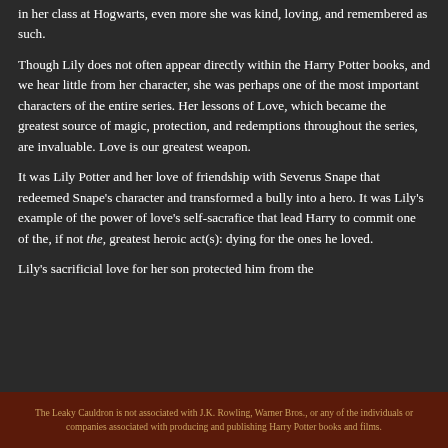in her class at Hogwarts, even more she was kind, loving, and remembered as such.
Though Lily does not often appear directly within the Harry Potter books, and we hear little from her character, she was perhaps one of the most important characters of the entire series. Her lessons of Love, which became the greatest source of magic, protection, and redemptions throughout the series,  are invaluable. Love is our greatest weapon.
It was Lily Potter and her love of friendship with Severus Snape that redeemed Snape's character and transformed a bully into a hero. It was Lily's example of the power of love's self-sacrafice that lead Harry to commit one of the, if not the, greatest heroic act(s): dying for the ones he loved.
Lily's sacrificial love for her son protected him from the
The Leaky Cauldron is not associated with J.K. Rowling, Warner Bros., or any of the individuals or companies associated with producing and publishing Harry Potter books and films.